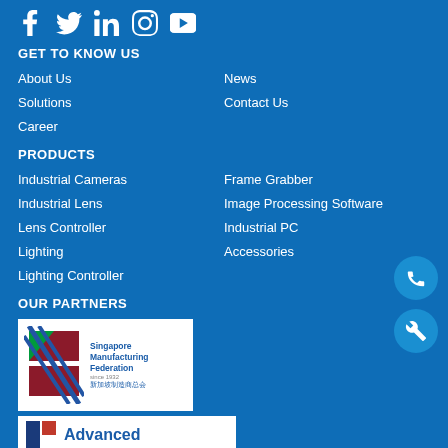[Figure (illustration): Social media icons: Facebook, Twitter, LinkedIn, Instagram, YouTube in white on blue background]
GET TO KNOW US
About Us
Solutions
Career
News
Contact Us
PRODUCTS
Industrial Cameras
Industrial Lens
Lens Controller
Lighting
Lighting Controller
Frame Grabber
Image Processing Software
Industrial PC
Accessories
OUR PARTNERS
[Figure (logo): Singapore Manufacturing Federation logo with diagonal stripes and Chinese text]
[Figure (logo): Advanced company logo partial view]